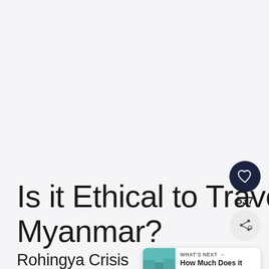Is it Ethical to Travel in Myanmar?
Rohingya Crisis
[Figure (illustration): Heart/like button icon (dark navy circle with white heart outline), share button (light circle with share icon), and count '537']
[Figure (screenshot): WHAT'S NEXT card with thumbnail image of street scene and text 'How Much Does it Cost...']